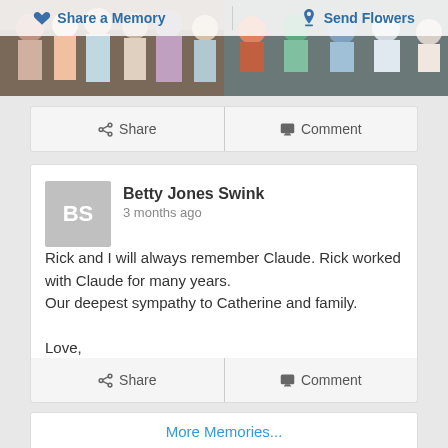[Figure (screenshot): Website header with two buttons: heart icon 'Share a Memory' and pin icon 'Send Flowers', overlaid on top of a group photo strip showing people standing/sitting outdoors]
Share    Comment
Betty Jones Swink
3 months ago

Rick and I will always remember Claude. Rick worked with Claude for many years.
Our deepest sympathy to Catherine and family.

Love,
... Continue Reading
Share    Comment
More Memories...